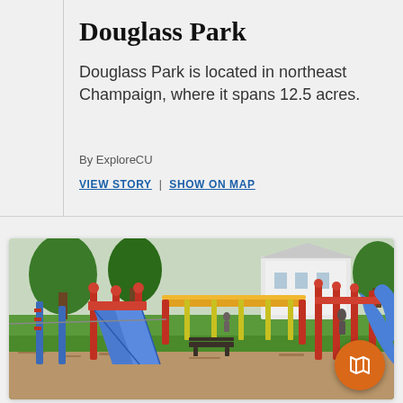Douglass Park
Douglass Park is located in northeast Champaign, where it spans 12.5 acres.
By ExploreCU
VIEW STORY | SHOW ON MAP
[Figure (photo): Playground equipment at Douglass Park showing blue slides, red and blue climbing structures, yellow bars, and a white building and trees in the background. An orange circular map badge icon is overlaid in the bottom right corner.]